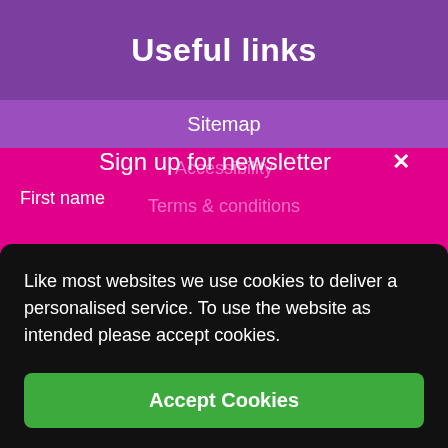Useful links
Sitemap
Accessibility
Terms & conditions
Privacy policy
Update my contact preferences
Sign up for newsletter
First name
Last name
Like most websites we use cookies to deliver a personalised service. To use the website as intended please accept cookies.
Accept Cookies